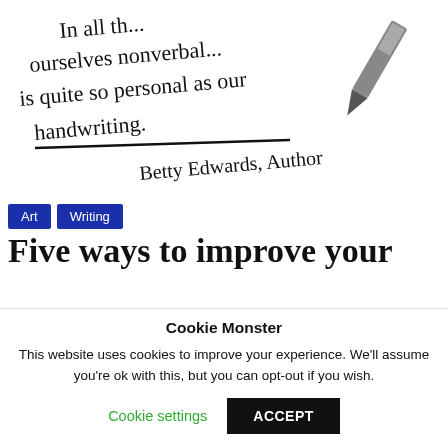[Figure (photo): Black and white photo of a hand holding a pen writing cursive text: 'In all th... ourselves nonverbal... is quite so personal as our handwriting. Betty Edwards, Author']
Art
Writing
Five ways to improve your
Cookie Monster
This website uses cookies to improve your experience. We'll assume you're ok with this, but you can opt-out if you wish.
Cookie settings
ACCEPT